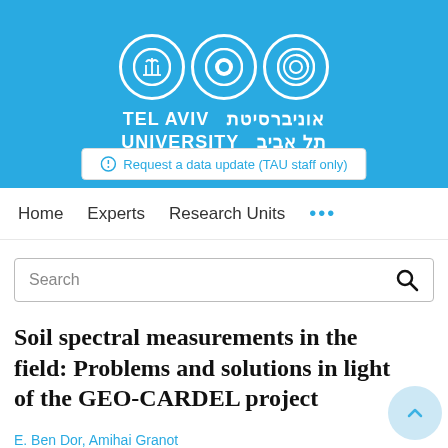[Figure (logo): Tel Aviv University logo with three circles and university name in English and Hebrew on a blue background]
Request a data update (TAU staff only)
Home   Experts   Research Units   ...
Search
Soil spectral measurements in the field: Problems and solutions in light of the GEO-CARDEL project
E. Ben Dor, Amihai Granot